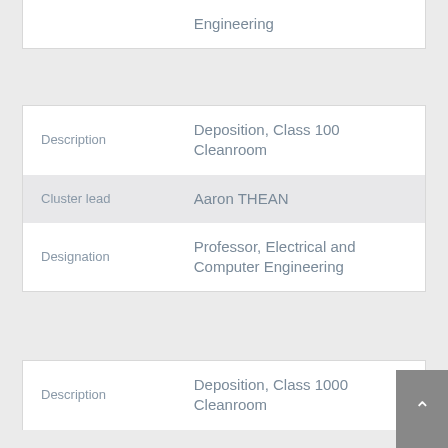|  | Engineering |
| Description | Deposition, Class 100 Cleanroom |
| Cluster lead | Aaron THEAN |
| Designation | Professor, Electrical and Computer Engineering |
| Description | Deposition, Class 1000 Cleanroom |